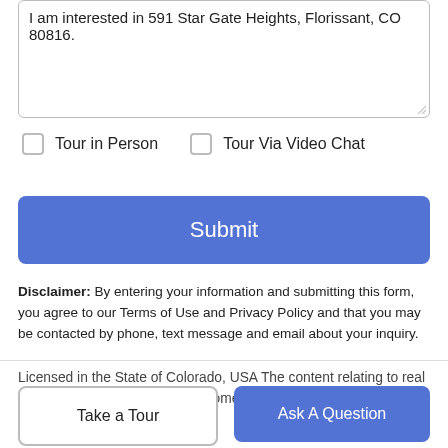I am interested in 591 Star Gate Heights, Florissant, CO 80816.
Tour in Person
Tour Via Video Chat
Submit
Disclaimer: By entering your information and submitting this form, you agree to our Terms of Use and Privacy Policy and that you may be contacted by phone, text message and email about your inquiry.
Licensed in the State of Colorado, USA The content relating to real estate for sale in this Web site comes in part from the Internet Data
Take a Tour
Ask A Question